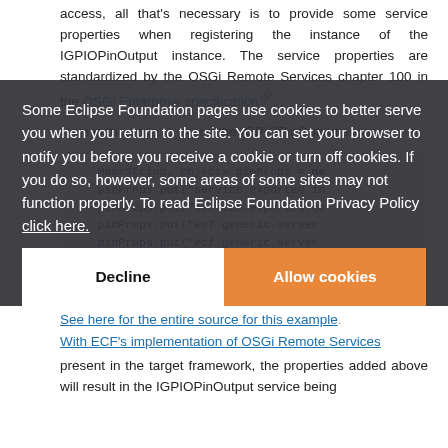access, all that's necessary is to provide some service properties when registering the instance of the IGPIOPinOutput instance. The service properties are standardized by the OSGi Remote Services chapter 100 in the OSGi Enterprise specification.
Here is the code to export the IGPIOPinOutput service
Some Eclipse Foundation pages use cookies to better serve you when you return to the site. You can set your browser to notify you before you receive a cookie or turn off cookies. If you do so, however, some areas of some sites may not function properly. To read Eclipse Foundation Privacy Policy click here.
[Figure (screenshot): Code block showing Map<String, Object> pinProps = ne, pinProps.put("service.exported.in, pinProps.put("service.exported.co, pinProps.put("ecf.generic.server, pinProps.put("ecf.generic.server, ...the al..., reg = Pi4jGPIOPinOutput.register(]
See here for the entire source for this example.
With ECF's implementation of OSGi Remote Services present in the target framework, the properties added above will result in the IGPIOPinOutput service being